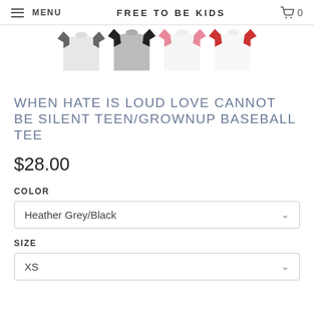MENU   FREE TO BE KIDS   0
[Figure (photo): Four baseball tee shirt product thumbnails shown in different color combinations: grey/black, grey/grey, white/pink, and white/red]
WHEN HATE IS LOUD LOVE CANNOT BE SILENT TEEN/GROWNUP BASEBALL TEE
$28.00
COLOR
Heather Grey/Black
SIZE
XS